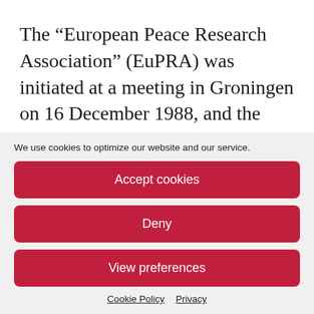The “European Peace Research Association” (EuPRA) was initiated at a meeting in Groningen on 16 December 1988, and the decision to formally constitute it as a regional association of the International Peace Research Association (IPRA) was made
We use cookies to optimize our website and our service.
Accept cookies
Deny
View preferences
Cookie Policy  Privacy